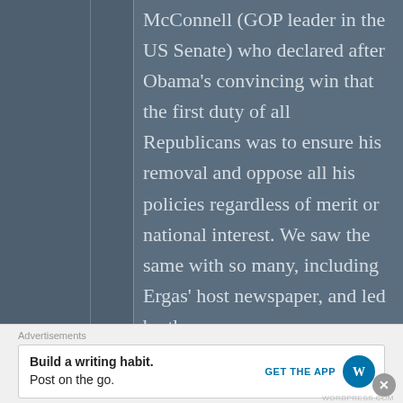McConnell (GOP leader in the US Senate) who declared after Obama's convincing win that the first duty of all Republicans was to ensure his removal and oppose all his policies regardless of merit or national interest. We saw the same with so many, including Ergas' host newspaper, and led by the
Advertisements
Build a writing habit. Post on the go.
GET THE APP